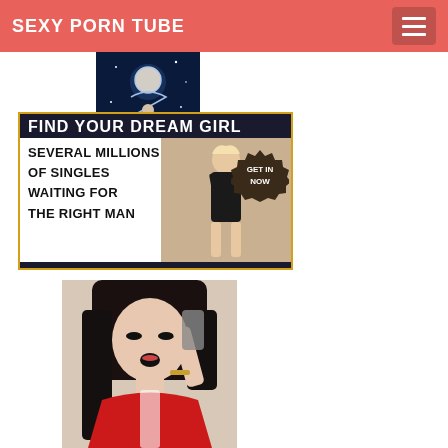SEXY PORN TUBE
[Figure (illustration): Anime-style illustration with cosmic/space background, featuring a character with long hair and glowing moon, fantasy art style]
[Figure (infographic): Dating site advertisement banner with dark background header reading FIND YOUR DREAM GIRL, text SEVERAL MILLIONS OF SINGLES WAITING FOR THE RIGHT MAN, blonde model posing, GET IN NOW badge]
[Figure (photo): Photo of a woman with black hair in red outfit holding a phone, looking up with mouth open]